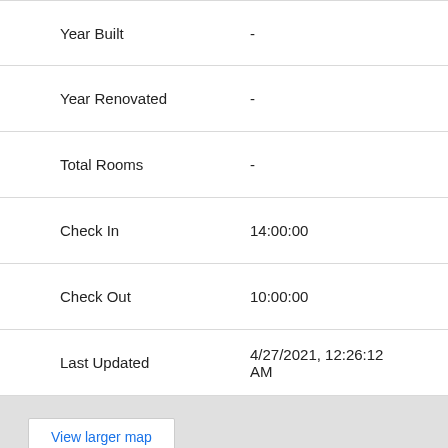| Field | Value |
| --- | --- |
| Year Built | - |
| Year Renovated | - |
| Total Rooms | - |
| Check In | 14:00:00 |
| Check Out | 10:00:00 |
| Last Updated | 4/27/2021, 12:26:12 AM |
View larger map